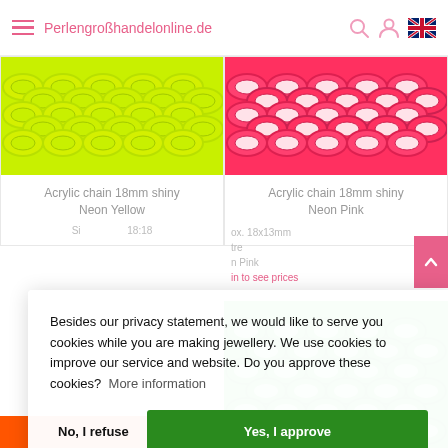PerlengroßhandelonLine.de
[Figure (photo): Acrylic chain 18mm shiny Neon Yellow - yellow plastic chain links]
Acrylic chain 18mm shiny Neon Yellow
[Figure (photo): Acrylic chain 18mm shiny Neon Pink - pink plastic chain links]
Acrylic chain 18mm shiny Neon Pink
ox. 18x13mm
tre
n Pink
in to see prices
[Figure (photo): Acrylic chain - green plastic chain links]
[Figure (photo): Acrylic chain - orange plastic chain links at bottom]
Besides our privacy statement, we would like to serve you cookies while you are making jewellery. We use cookies to improve our service and website. Do you approve these cookies?  More information
No, I refuse
Yes, I approve